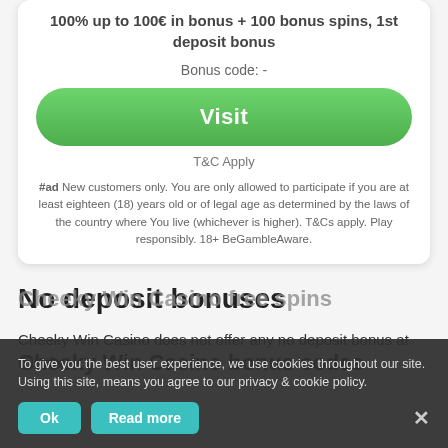100% up to 100€ in bonus + 100 bonus spins, 1st deposit bonus
Bonus code: -
[Figure (other): Green Visit button]
T&C Apply
#ad New customers only. You are only allowed to participate if you are at least eighteen (18) years old or of legal age as determined by the laws of the country where You live (whichever is higher). T&Cs apply. Play responsibly. 18+ BeGambleAware.
No deposit bonuses
Cheeky Win Casino does not offer any no deposit bonus at this time.
Cheeky Win Casino free spins
Cheeky Win Casino bonus codes
To give you the best user experience, we use cookies throughout our site. Using this site, means you agree to our privacy & cookie policy.